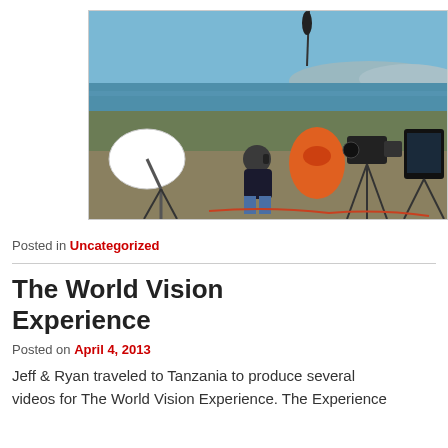[Figure (photo): Outdoor film production scene near a waterfront. A man sits on rocks talking on a phone, surrounded by camera equipment on tripods, a white satellite dish on the left, and an orange buoy in the background. Blue sky and water visible.]
Posted in Uncategorized
The World Vision Experience
Posted on April 4, 2013
Jeff & Ryan traveled to Tanzania to produce several videos for The World Vision Experience. The Experience